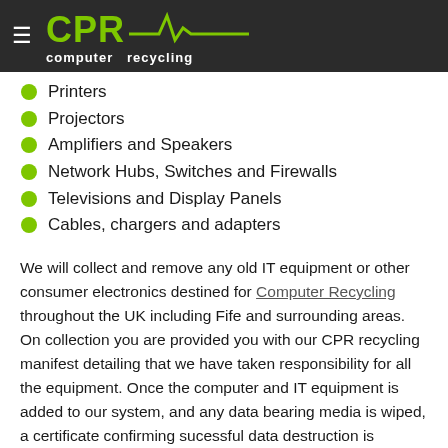CPR computer recycling
Printers
Projectors
Amplifiers and Speakers
Network Hubs, Switches and Firewalls
Televisions and Display Panels
Cables, chargers and adapters
We will collect and remove any old IT equipment or other consumer electronics destined for Computer Recycling throughout the UK including Fife and surrounding areas. On collection you are provided you with our CPR recycling manifest detailing that we have taken responsibility for all the equipment. Once the computer and IT equipment is added to our system, and any data bearing media is wiped, a certificate confirming sucessful data destruction is provided for all computer hard drives. So Why Not Contact Us Today and take advantage of our FREE recycling service in Fife.